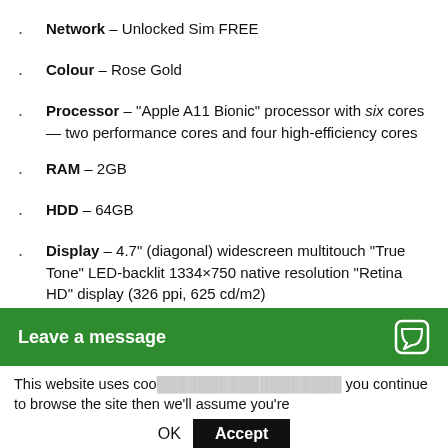Network – Unlocked Sim FREE
Colour – Rose Gold
Processor – "Apple A11 Bionic" processor with six cores — two performance cores and four high-efficiency cores
RAM – 2GB
HDD – 64GB
Display – 4.7" (diagonal) widescreen multitouch "True Tone" LED-backlit 1334×750 native resolution "Retina HD" display (326 ppi, 625 cd/m2)
IOS – Current
Leave a message
This website uses coo... you continue to browse the site then we'll assume you're
OK  Accept